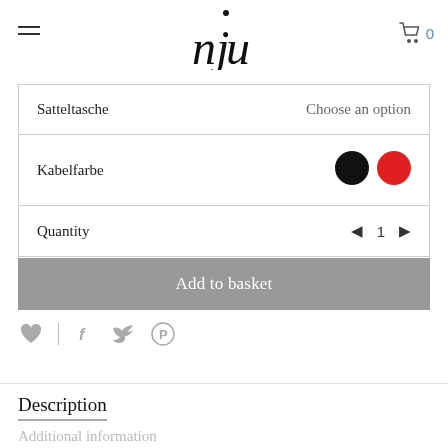[Figure (logo): njm stylized logo with dot above, black serif typeface]
| Satteltasche | Choose an option |
| Kabelfarbe | (black swatch) (red swatch) |
| Quantity | ◄ 1 ► |
Add to basket
[Figure (infographic): Social share icons: heart, vertical separator, Facebook f, Twitter bird, Pinterest P — all in gray]
Description
Additional information